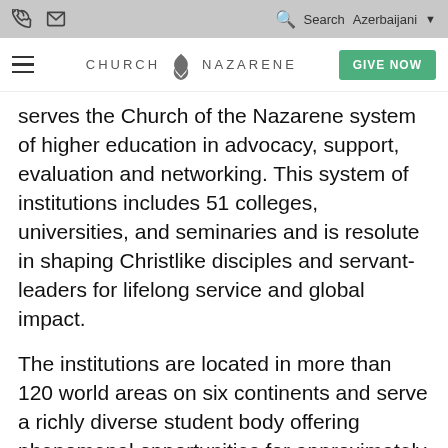Church of the Nazarene website header with phone icon, mail icon, search icon, Search label, Azerbaijani language selector, hamburger menu, Church of the Nazarene logo, and GIVE NOW button
serves the Church of the Nazarene system of higher education in advocacy, support, evaluation and networking. This system of institutions includes 51 colleges, universities, and seminaries and is resolute in shaping Christlike disciples and servant-leaders for lifelong service and global impact.
The institutions are located in more than 120 world areas on six continents and serve a richly diverse student body offering phenomenal opportunities for approximately 50,000...